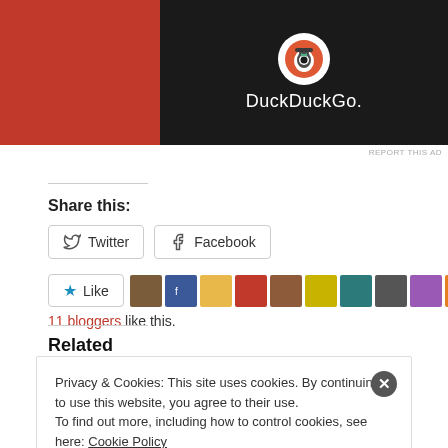[Figure (logo): DuckDuckGo advertisement banner with orange background and dark panel showing DuckDuckGo logo and name]
REPORT THIS AD
Share this:
Twitter  Facebook (social share buttons)
Like  [blogger avatars]
11 bloggers like this.
Related
Privacy & Cookies: This site uses cookies. By continuing to use this website, you agree to their use.
To find out more, including how to control cookies, see here: Cookie Policy
Close and accept